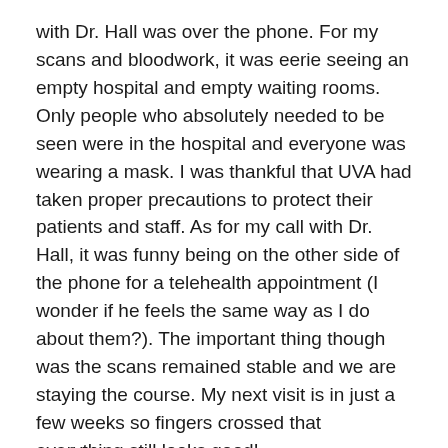with Dr. Hall was over the phone. For my scans and bloodwork, it was eerie seeing an empty hospital and empty waiting rooms.  Only people who absolutely needed to be seen were in the hospital and everyone was wearing a mask. I was thankful that UVA had taken proper precautions to protect their patients and staff. As for my call with Dr. Hall, it was funny being on the other side of the phone for a telehealth appointment (I wonder if he feels the same way as I do about them?). The important thing though was the scans remained stable and we are staying the course. My next visit is in just a few weeks so fingers crossed that everything still looks good!
Father: The other thing that I've gained in these past 5 months is a lot of perspective about being a parent and about the world in the year 2020. Since I worked remotely for almost 3 months, I probably spent more